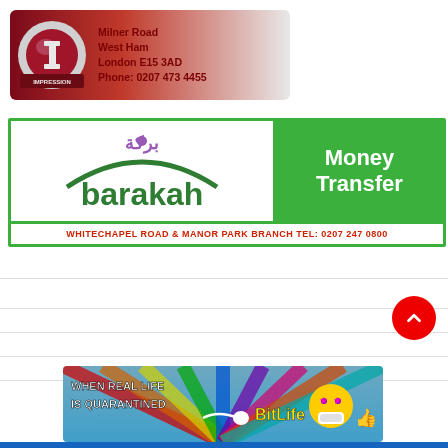[Figure (logo): Impression Events Venue banner with logo and address: Milner Road, West Ham, London E15 3AD, Phone: 0207 473 4455]
[Figure (logo): Barakah Money Transfer advertisement banner with green background. Text: WHITECHAPEL ROAD & MANOR PARK BRANCH TEL: 0207 247 0800]
[Figure (advertisement): BitLife mobile game advertisement: WHEN REAL LIFE IS QUARANTINED - BitLife, with emoji character]